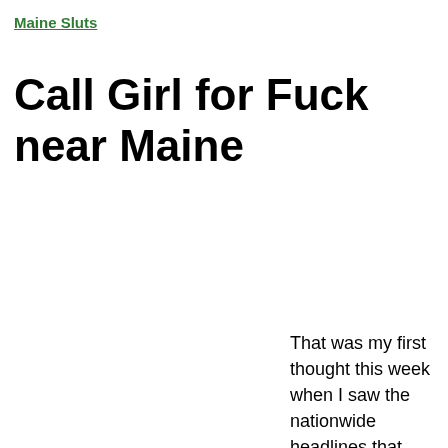Maine Sluts
Call Girl for Fuck near Maine
That was my first thought this week when I saw the nationwide headlines that